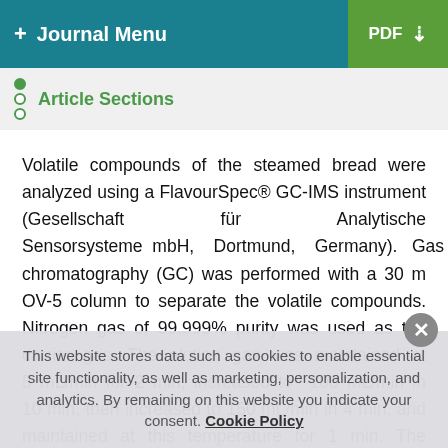+ Journal Menu  PDF ↓
Article Sections
Volatile compounds of the steamed bread were analyzed using a FlavourSpec® GC-IMS instrument (Gesellschaft für Analytische Sensorsysteme mbH, Dortmund, Germany). Gas chromatography (GC) was performed with a 30 m OV-5 column to separate the volatile compounds. Nitrogen gas of 99.999% purity was used as the carrier gas. The elution gas was maintained at 5 mL/min for 2 min, increased to 100 mL/min in 10 min, then increased to 150 mL/min in 4 min, and maintained at this temperature for 1 min. The analytes were eluted and separated at 45°C, and then ionized in an IMS ionization
This website stores data such as cookies to enable essential site functionality, as well as marketing, personalization, and analytics. By remaining on this website you indicate your consent. Cookie Policy